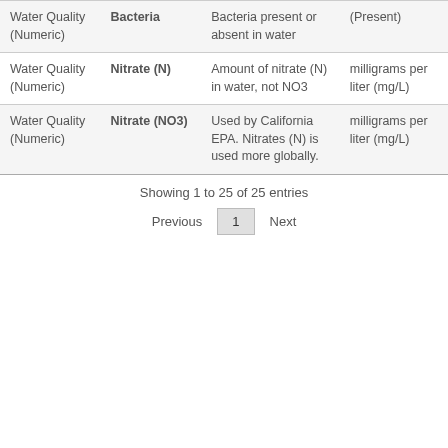| Category | Parameter | Description | Unit |
| --- | --- | --- | --- |
| Water Quality (Numeric) | Bacteria | Bacteria present or absent in water | (Present) |
| Water Quality (Numeric) | Nitrate (N) | Amount of nitrate (N) in water, not NO3 | milligrams per liter (mg/L) |
| Water Quality (Numeric) | Nitrate (NO3) | Used by California EPA. Nitrates (N) is used more globally. | milligrams per liter (mg/L) |
Showing 1 to 25 of 25 entries
Previous  1  Next